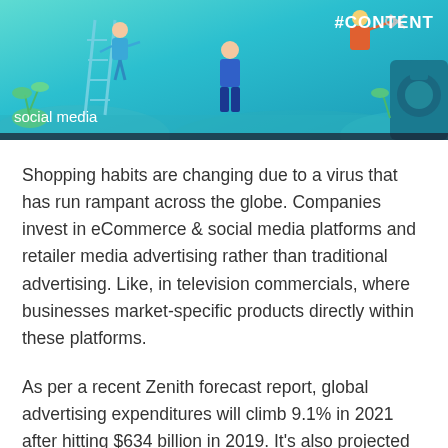[Figure (illustration): Header banner illustration with teal/cyan gradient background showing cartoon figures of people working — one on a ladder, one with scissors cutting, one standing. Plants and decorative elements visible. Text '#CONTENT' in top right and 'social media' in bottom left.]
Shopping habits are changing due to a virus that has run rampant across the globe. Companies invest in eCommerce & social media platforms and retailer media advertising rather than traditional advertising. Like, in television commercials, where businesses market-specific products directly within these platforms.
As per a recent Zenith forecast report, global advertising expenditures will climb 9.1% in 2021 after hitting $634 billion in 2019. It's also projected to jump 15.6% in 2021 to $705 billion.